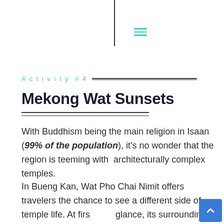Navigation header with vertical line and hamburger menu
Activity #4
Mekong Wat Sunsets
With Buddhism being the main religion in Isaan (99% of the population), it's no wonder that the region is teeming with architecturally complex temples.
In Bueng Kan, Wat Pho Chai Nimit offers travelers the chance to see a different side of temple life. At first glance, its surroundings aren't as stunning as other temples in the region, but the happiness blooming from